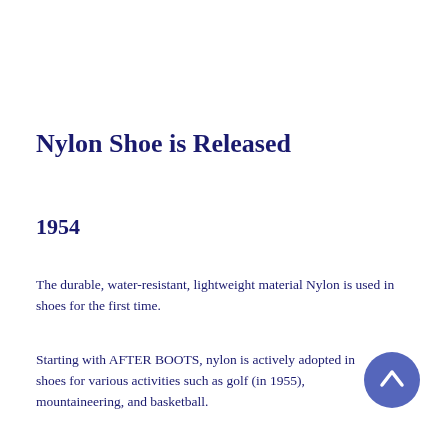Nylon Shoe is Released
1954
The durable, water-resistant, lightweight material Nylon is used in shoes for the first time.
Starting with AFTER BOOTS, nylon is actively adopted in shoes for various activities such as golf (in 1955), mountaineering, and basketball.
[Figure (other): A circular blue scroll-to-top button with an upward chevron arrow icon]